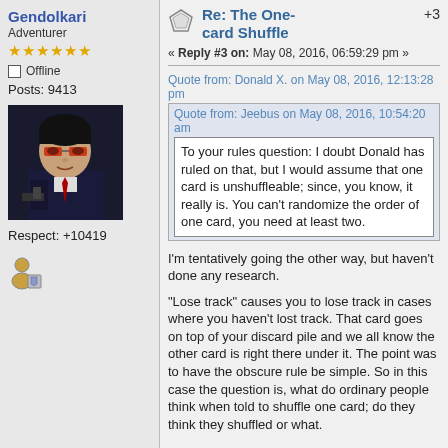Gendolkari
Adventurer
★★★★★★
Offline
Posts: 9413
[Figure (photo): Avatar image of a cartoon character with dark hair and red-tinted glasses holding a gun, wearing a dark suit]
Respect: +10419
[Figure (illustration): Small user profile icon showing a person with a badge/shield]
Re: The One-card Shuffle +3
« Reply #3 on: May 08, 2016, 06:59:29 pm »
Quote from: Donald X. on May 08, 2016, 12:13:28 pm
Quote from: Jeebus on May 08, 2016, 10:54:20 am
To your rules question: I doubt Donald has ruled on that, but I would assume that one card is unshuffleable; since, you know, it really is. You can't randomize the order of one card, you need at least two.
I'm tentatively going the other way, but haven't done any research.
"Lose track" causes you to lose track in cases where you haven't lost track. That card goes on top of your discard pile and we all know the other card is right there under it. The point was to have the obscure rule be simple. So in this case the question is, what do ordinary people think when told to shuffle one card; do they think they shuffled or what.